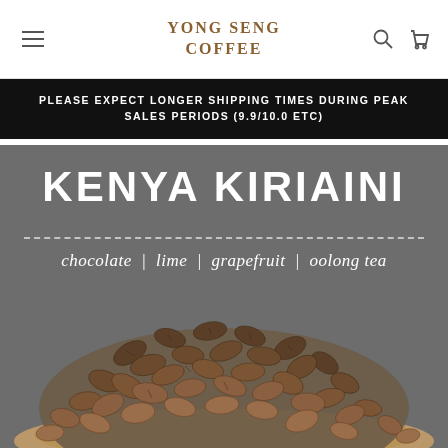YONG SENG COFFEE
PLEASE EXPECT LONGER SHIPPING TIMES DURING PEAK SALES PERIODS (9.9/10.0 ETC)
[Figure (photo): Kenya Kiriaini coffee product page with gray background showing product title 'KENYA KIRIAINI', flavor notes 'chocolate | lime | grapefruit | oolong tea', and a pile of roasted coffee beans in a wooden bowl at the bottom.]